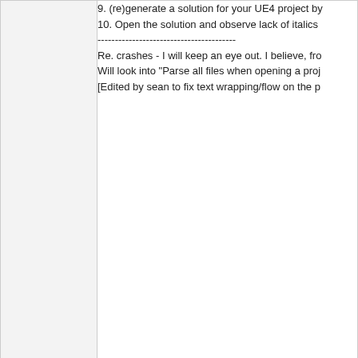9. (re)generate a solution for your UE4 project by
10. Open the solution and observe lack of italics
----------------------------------------
Re. crashes - I will keep an eye out. I believe, fro
Will look into "Parse all files when opening a proj
[Edited by sean to fix text wrapping/flow on the p
feline
Posted - Jun 03 2019 : 11:13:29 AM
The bug is down as an important one, and we ar
When you say "not the default location", is the UI
So first up I want to see if this should be a factor
Are you seeing any pattern to the crashes? It is p memory, since it is a 32bit process and can only
In VA options, do you have:
VA Options -> Performance -> Parse all files whe
turned On of Off? If this is turned On, does turni